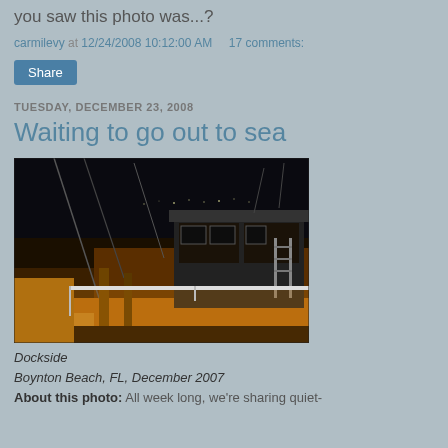you saw this photo was...?
carmilevy at 12/24/2008 10:12:00 AM    17 comments:
Share
TUESDAY, DECEMBER 23, 2008
Waiting to go out to sea
[Figure (photo): Night photograph of a boat docked at a marina, lit by orange dock lights. The boat has fishing rods and a cabin structure visible. Dark sky in background.]
Dockside
Boynton Beach, FL, December 2007
About this photo: All week long, we're sharing quiet-